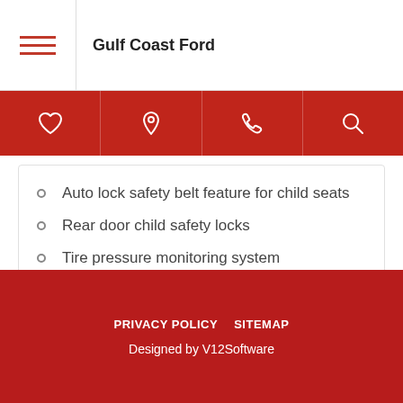Gulf Coast Ford
Auto lock safety belt feature for child seats
Rear door child safety locks
Tire pressure monitoring system
Dual note horn
PRIVACY POLICY   SITEMAP
Designed by V12Software